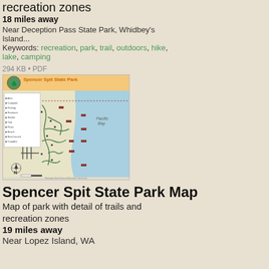recreation zones
18 miles away
Near Deception Pass State Park, Whidbey's Island...
Keywords: recreation, park, trail, outdoors, hike, lake, camping
294 KB • PDF
[Figure (map): Spencer Spit State Park Map showing trails, recreation zones, and park features on Lopez Island, WA]
Spencer Spit State Park Map
Map of park with detail of trails and recreation zones
19 miles away
Near Lopez Island, WA